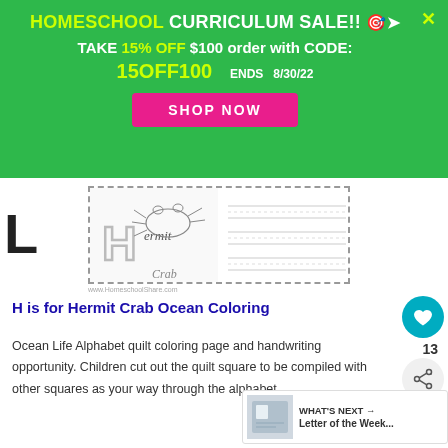HOMESCHOOL CURRICULUM SALE!! 🎉➤
TAKE 15% OFF $100 order with CODE:
15OFF100  ENDS  8/30/22
SHOP NOW
[Figure (illustration): Worksheet thumbnail showing a hermit crab illustration with letter H and the words 'Hermit Crab', with handwriting lines on the right side. Website URL below.]
H is for Hermit Crab Ocean Coloring
Ocean Life Alphabet quilt coloring page and handwriting opportunity. Children cut out the quilt square to be compiled with other squares as your way through the alphabet.
WHAT'S NEXT → Letter of the Week...